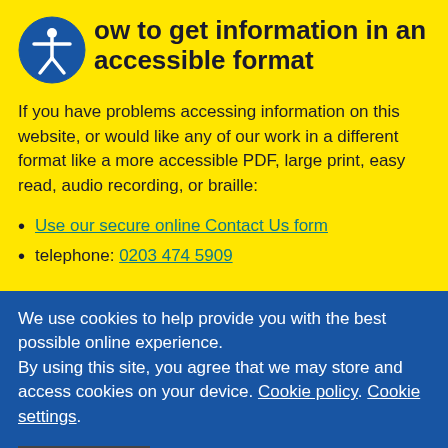How to get information in an accessible format
If you have problems accessing information on this website, or would like any of our work in a different format like a more accessible PDF, large print, easy read, audio recording, or braille:
Use our secure online Contact Us form
telephone: 0203 474 5909
We use cookies to help provide you with the best possible online experience. By using this site, you agree that we may store and access cookies on your device. Cookie policy. Cookie settings.
ACCEPT